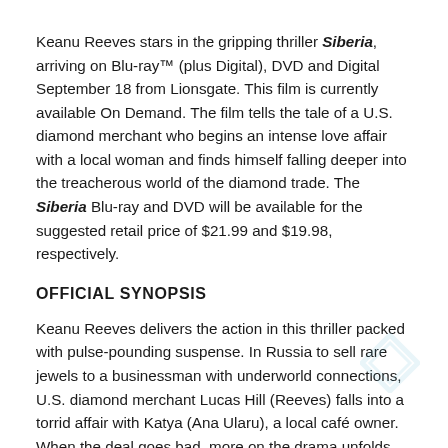Keanu Reeves stars in the gripping thriller Siberia, arriving on Blu-ray™ (plus Digital), DVD and Digital September 18 from Lionsgate. This film is currently available On Demand. The film tells the tale of a U.S. diamond merchant who begins an intense love affair with a local woman and finds himself falling deeper into the treacherous world of the diamond trade. The Siberia Blu-ray and DVD will be available for the suggested retail price of $21.99 and $19.98, respectively.
OFFICIAL SYNOPSIS
Keanu Reeves delivers the action in this thriller packed with pulse-pounding suspense. In Russia to sell rare jewels to a businessman with underworld connections, U.S. diamond merchant Lucas Hill (Reeves) falls into a torrid affair with Katya (Ana Ularu), a local café owner. When the deal goes bad, more on the drama unfolds...